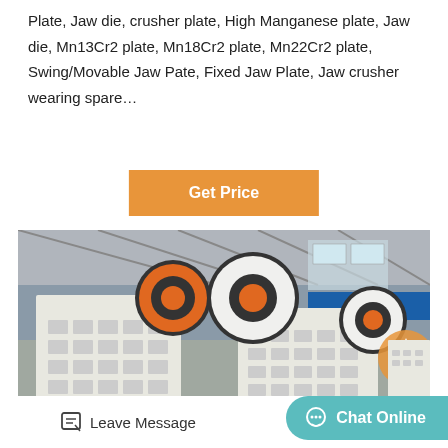Plate, Jaw die, crusher plate, High Manganese plate, Jaw die, Mn13Cr2 plate, Mn18Cr2 plate, Mn22Cr2 plate, Swing/Movable Jaw Pate, Fixed Jaw Plate, Jaw crusher wearing spare…
[Figure (other): Orange button labeled 'Get Price']
[Figure (photo): Industrial jaw crusher machines in a factory/warehouse setting, showing large white crusher units with orange and black flywheels, inside a steel-frame building.]
[Figure (other): Page footer with 'Leave Message' link and 'Chat Online' teal button]